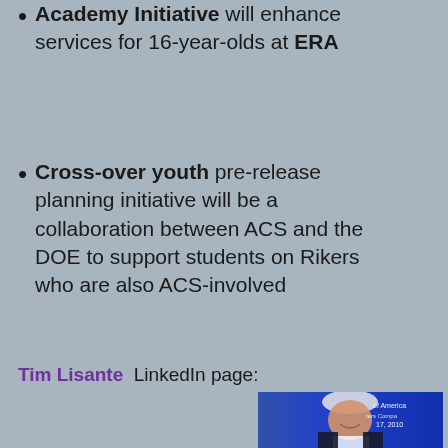Academy Initiative will enhance services for 16-year-olds at ERA
Cross-over youth pre-release planning initiative will be a collaboration between ACS and the DOE to support students on Rikers who are also ACS-involved
Tim Lisante  LinkedIn page:
[Figure (photo): Photo of Tim Lisante, a man with white hair wearing a dark suit and red striped tie, smiling at an event with blue lighting and a sign reading 'of America' and '17, 2010' visible in the background.]